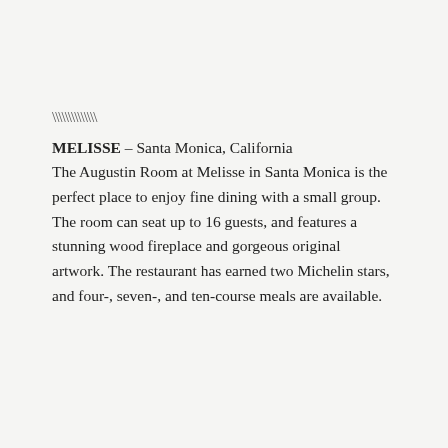\\\\\\\\\\\\\
MELISSE – Santa Monica, California
The Augustin Room at Melisse in Santa Monica is the perfect place to enjoy fine dining with a small group. The room can seat up to 16 guests, and features a stunning wood fireplace and gorgeous original artwork. The restaurant has earned two Michelin stars, and four-, seven-, and ten-course meals are available.